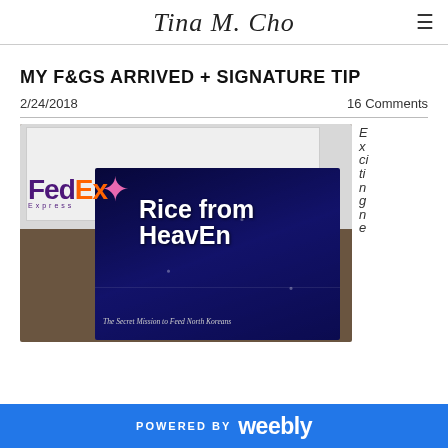Tina M. Cho
MY F&GS ARRIVED + SIGNATURE TIP
2/24/2018    16 Comments
[Figure (photo): Photo of a FedEx envelope and the book 'Rice from Heaven: The Secret Mission to Feed North Koreans' with text 'Exciting' on the right side]
POWERED BY weebly